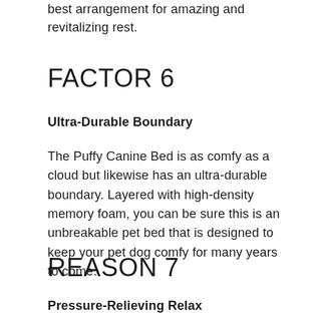best arrangement for amazing and revitalizing rest.
FACTOR 6
Ultra-Durable Boundary
The Puffy Canine Bed is as comfy as a cloud but likewise has an ultra-durable boundary. Layered with high-density memory foam, you can be sure this is an unbreakable pet bed that is designed to keep your pet dog comfy for many years to come.
REASON 7
Pressure-Relieving Relax